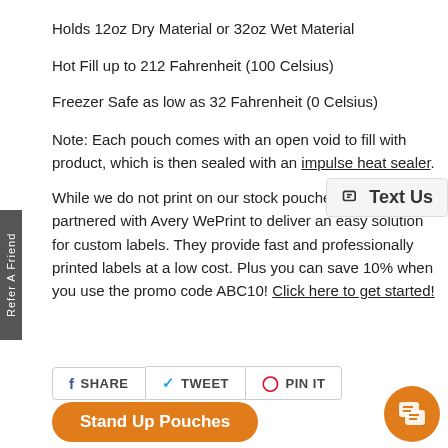Holds 12oz Dry Material or 32oz Wet Material
Hot Fill up to 212 Fahrenheit (100 Celsius)
Freezer Safe as low as 32 Fahrenheit (0 Celsius)
Note: Each pouch comes with an open void to fill with product, which is then sealed with an impulse heat sealer.
While we do not print on our stock pouches, we have partnered with Avery WePrint to deliver an easy solution for custom labels. They provide fast and professionally printed labels at a low cost. Plus you can save 10% when you use the promo code ABC10! Click here to get started!